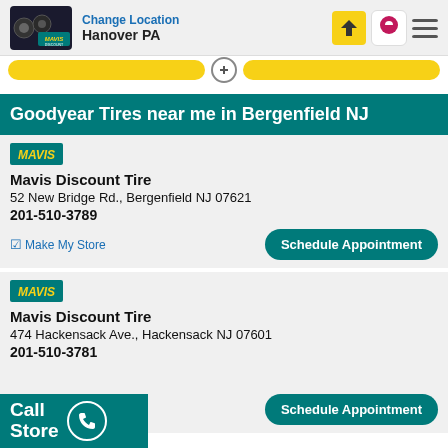Change Location Hanover PA
Goodyear Tires near me in Bergenfield NJ
Mavis Discount Tire
52 New Bridge Rd., Bergenfield NJ 07621
201-510-3789
Make My Store
Schedule Appointment
Mavis Discount Tire
474 Hackensack Ave., Hackensack NJ 07601
201-510-3781
Schedule Appointment
Call Store